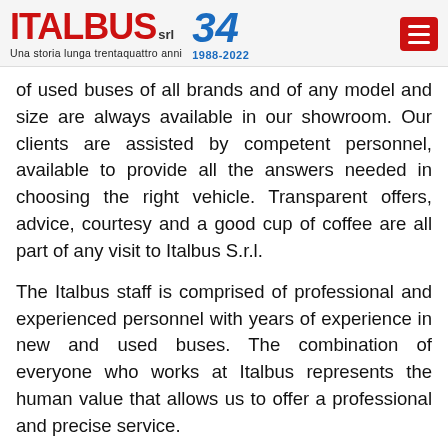ITALBUS srl — Una storia lunga trentaquattro anni 1988-2022
of used buses of all brands and of any model and size are always available in our showroom. Our clients are assisted by competent personnel, available to provide all the answers needed in choosing the right vehicle. Transparent offers, advice, courtesy and a good cup of coffee are all part of any visit to Italbus S.r.l.
The Italbus staff is comprised of professional and experienced personnel with years of experience in new and used buses. The combination of everyone who works at Italbus represents the human value that allows us to offer a professional and precise service.
WELCOME TO ITALBUS S.R.L.